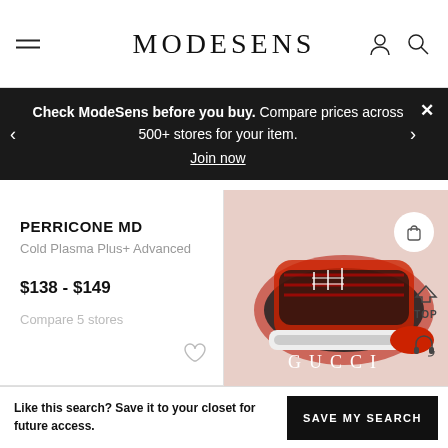MODESENS
Check ModeSens before you buy. Compare prices across 500+ stores for your item. Join now
PERRICONE MD
Cold Plasma Plus+ Advanced
$138 - $149
Compare 5 stores
[Figure (photo): Gucci sneakers photo with Gucci logo text on pink background]
Like this search? Save it to your closet for future access.
SAVE MY SEARCH